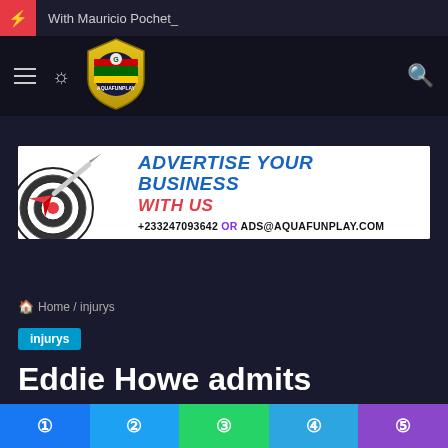With Mauricio Pochet_
[Figure (logo): AquaFunPlay shield logo with Ghana flag colors]
[Figure (infographic): Advertise Your Business With Us banner: +233247093642 OR ADS@AQUAFUNPLAY.COM]
Home / injurys
injurys
Eddie Howe admits